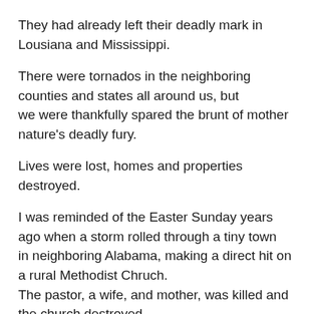They had already left their deadly mark in Lousiana and Mississippi.
There were tornados in the neighboring counties and states all around us, but we were thankfully spared the brunt of mother nature's deadly fury.
Lives were lost, homes and properties destroyed.
I was reminded of the Easter Sunday years ago when a storm rolled through a tiny town in neighboring Alabama, making a direct hit on a rural Methodist Chruch. The pastor, a wife, and mother, was killed and the church destroyed.
Mother Nature does not discriminate.